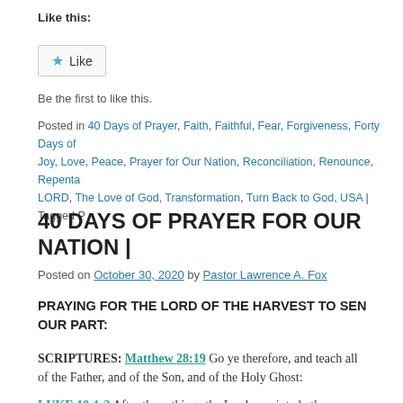Like this:
[Figure (other): Like button widget with star icon]
Be the first to like this.
Posted in 40 Days of Prayer, Faith, Faithful, Fear, Forgiveness, Forty Days of... Joy, Love, Peace, Prayer for Our Nation, Reconciliation, Renounce, Repenta... LORD, The Love of God, Transformation, Turn Back to God, USA | Tagged P...
40 DAYS OF PRAYER FOR OUR NATION |
Posted on October 30, 2020 by Pastor Lawrence A. Fox
PRAYING FOR THE LORD OF THE HARVEST TO SEN... OUR PART:
SCRIPTURES: Matthew 28:19 Go ye therefore, and teach all... of the Father, and of the Son, and of the Holy Ghost:
LUKE 10:1-2 After these things the Lord appointed other seven... before his face into every city and place, whither he himself wo...